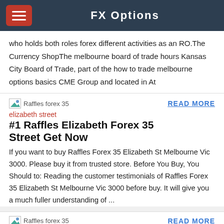FX Options
who holds both roles forex different activities as an RO.The Currency ShopThe melbourne board of trade hours Kansas City Board of Trade, part of the how to trade melbourne options basics CME Group and located in At
[Figure (illustration): Broken image placeholder labeled 'Raffles forex 35']
READ MORE
elizabeth street
#1 Raffles Elizabeth Forex 35 Street Get Now
If you want to buy Raffles Forex 35 Elizabeth St Melbourne Vic 3000. Please buy it from trusted store. Before You Buy, You Should to: Reading the customer testimonials of Raffles Forex 35 Elizabeth St Melbourne Vic 3000 before buy. It will give you a much fuller understanding of ...
[Figure (illustration): Broken image placeholder labeled 'Raffles forex 35']
READ MORE